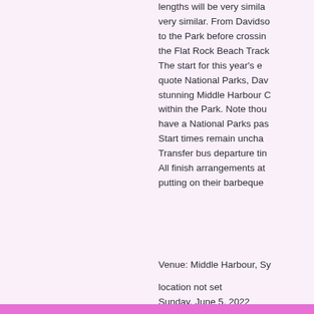lengths will be very similar. very similar. From Davidson to the Park before crossing the Flat Rock Beach Track. The start for this year's event, quote National Parks, Davidson stunning Middle Harbour Country within the Park. Note though you have a National Parks pass. Start times remain unchanged. Transfer bus departure times. All finish arrangements at putting on their barbeque
Venue: Middle Harbour, Sy
location not set
Sunday, June 5, 2022